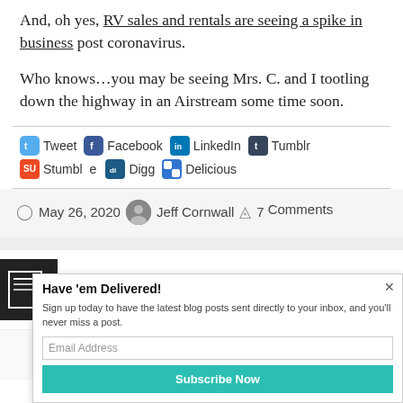And, oh yes, RV sales and rentals are seeing a spike in business post coronavirus.
Who knows…you may be seeing Mrs. C. and I tootling down the highway in an Airstream some time soon.
Share buttons: Tweet, Facebook, LinkedIn, Tumblr, StumbleUpon, Digg, Delicious
May 26, 2020  Jeff Cornwall  7 Comments
Getting to the Other Side: Music